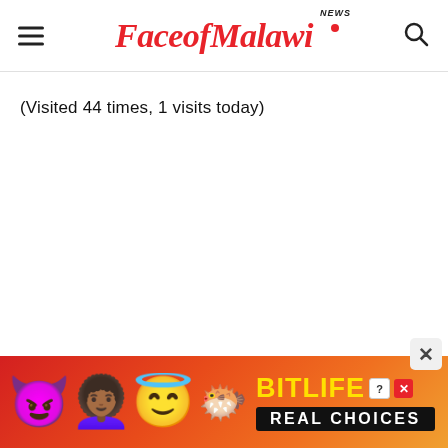FaceofMalawi NEWS
(Visited 44 times, 1 visits today)
[Figure (screenshot): BitLife 'Real Choices' advertisement banner with emoji characters (devil, woman, angel), sperm emoji, BitLife logo in yellow, and 'Real Choices' text on black background, set on an orange/red gradient.]